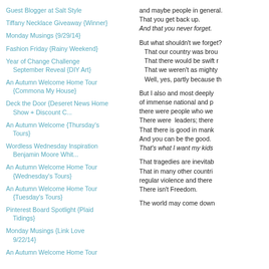Guest Blogger at Salt Style
Tiffany Necklace Giveaway {Winner}
Monday Musings {9/29/14}
Fashion Friday {Rainy Weekend}
Year of Change Challenge September Reveal {DIY Art}
An Autumn Welcome Home Tour {Commona My House}
Deck the Door {Deseret News Home Show + Discount C...
An Autumn Welcome {Thursday's Tours}
Wordless Wednesday Inspiration Benjamin Moore Whit...
An Autumn Welcome Home Tour {Wednesday's Tours}
An Autumn Welcome Home Tour {Tuesday's Tours}
Pinterest Board Spotlight {Plaid Tidings}
Monday Musings {Link Love 9/22/14}
An Autumn Welcome Home Tour
and maybe people in general.
That you get back up.
And that you never forget.
But what shouldn't we forget?
    That our country was brou
    That there would be swift r
    That we weren't as mighty 
    Well, yes, partly because th
But I also and most deeply of immense national and p there were people who we There were  leaders; there  That there is good in mank And you can be the good. That's what I want my kids
That tragedies are inevitab That in many other countri regular violence and there  There isn't Freedom.
The world may come down